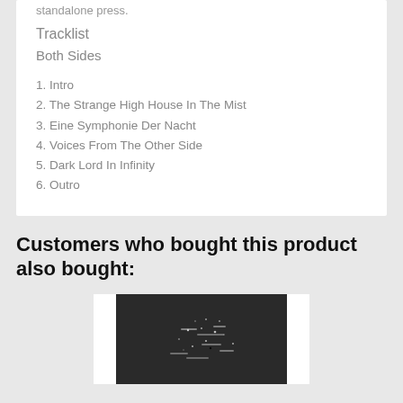standalone press.
Tracklist
Both Sides
1. Intro
2. The Strange High House In The Mist
3. Eine Symphonie Der Nacht
4. Voices From The Other Side
5. Dark Lord In Infinity
6. Outro
Customers who bought this product also bought:
[Figure (photo): Dark album art photo with white scattered text/dots on a dark background, partially visible.]